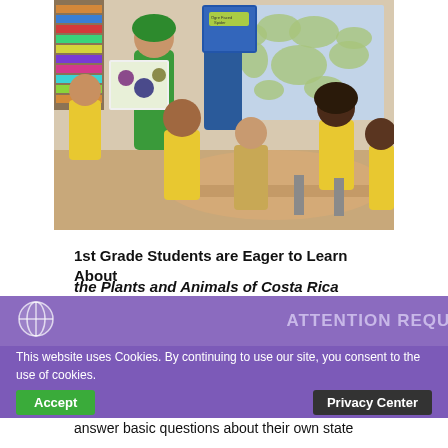[Figure (photo): A classroom scene showing a teacher and young students (1st graders) in yellow uniforms. A student holds up a blue book titled 'Ogre Faced Spider'. A world map is visible on the wall in the background. Students are seated around a table.]
1st Grade Students are Eager to Learn About the Plants and Animals of Costa Rica
ATTENTION REQUI
This website uses Cookies. By continuing to use our site, you consent to the use of cookies.
answer basic questions about their own state